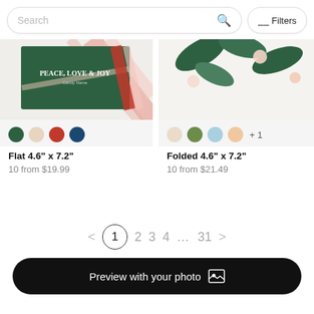Search
Filters
[Figure (photo): Left product card showing a Christmas card with green background, 'PEACE, LOVE & JOY' text, and candy cane stripe design]
Flat 4.6" x 7.2"
10 from $19.99
[Figure (photo): Right product card showing a card with tropical leaf/floral design in green and pink tones]
Folded 4.6" x 7.2"
10 from $21.49
< 1 2 3 4 … 31 >
Preview with your photo